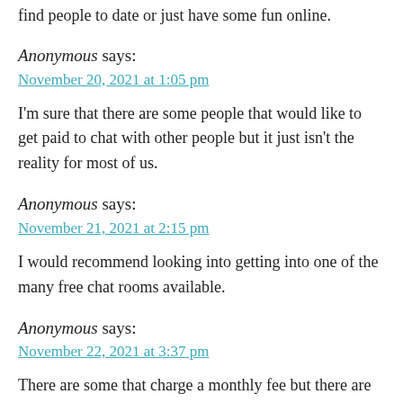find people to date or just have some fun online.
Anonymous says:
November 20, 2021 at 1:05 pm
I'm sure that there are some people that would like to get paid to chat with other people but it just isn't the reality for most of us.
Anonymous says:
November 21, 2021 at 2:15 pm
I would recommend looking into getting into one of the many free chat rooms available.
Anonymous says:
November 22, 2021 at 3:37 pm
There are some that charge a monthly fee but there are